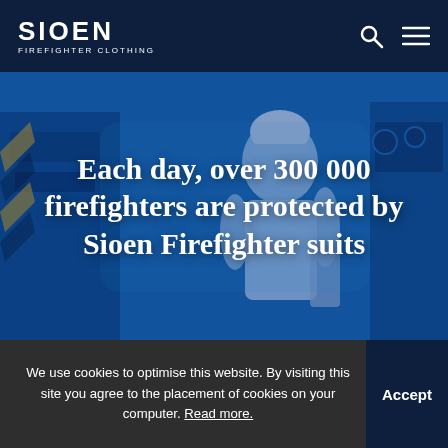SIOEN FIREFIGHTER CLOTHING
[Figure (photo): Firefighter in white suit and helmet working near fire truck, shown with blue color overlay. Large white bold text overlay reads: Each day, over 300 000 firefighters are protected by Sioen Firefighter suits]
We use cookies to optimise this website. By visiting this site you agree to the placement of cookies on your computer. Read more.